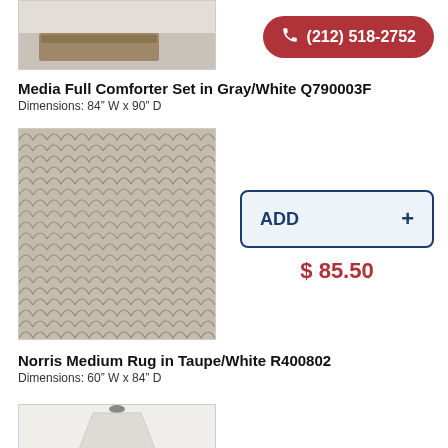[Figure (photo): Partial product image showing top portion of a gray/white comforter set on a bed]
[Figure (infographic): Red rounded rectangle phone button with phone icon and number (212) 518-2752]
Media Full Comforter Set in Gray/White Q790003F
Dimensions: 84" W x 90" D
[Figure (photo): Norris Medium Rug in Taupe/White pattern with chevron/scallop design]
[Figure (infographic): ADD button with plus sign and price $85.50]
Norris Medium Rug in Taupe/White R400802
Dimensions: 60" W x 84" D
[Figure (photo): Partial image of a lamp shade visible at the bottom of the page]